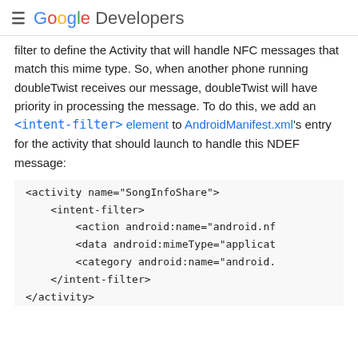≡ Google Developers
filter to define the Activity that will handle NFC messages that match this mime type. So, when another phone running doubleTwist receives our message, doubleTwist will have priority in processing the message. To do this, we add an <intent-filter> element to AndroidManifest.xml's entry for the activity that should launch to handle this NDEF message:
<activity name="SongInfoShare">
    <intent-filter>
        <action android:name="android.nf
        <data android:mimeType="applicat
        <category android:name="android.
    </intent-filter>
</activity>